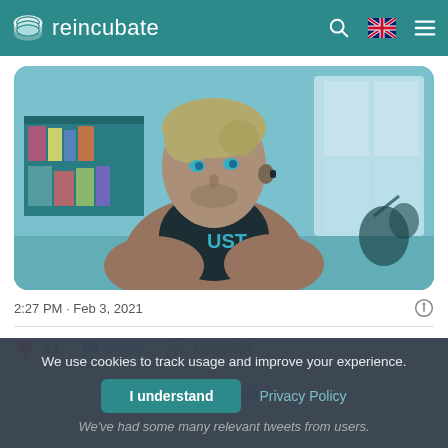reincubate
[Figure (photo): Photo of a man with blonde hair wearing a brown blazer over a black t-shirt that reads 'UST', looking upward, in a home office/room setting with bookshelves and a window in the background. Image has a blue-tinted tone.]
2:27 PM · Feb 3, 2021
❤ 33   💬 Reply   🔗 Copy link
Read 6 replies
We use cookies to track usage and improve your experience.
I understand
Privacy Policy
We've had some many relevant tweets from users.